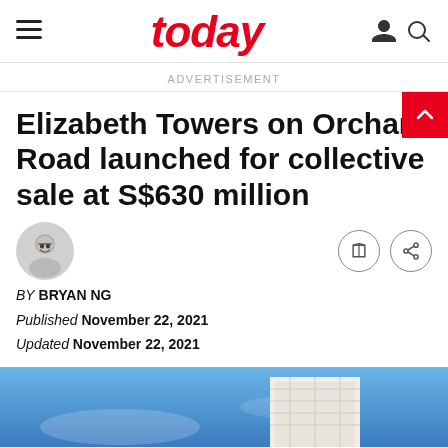today
ADVERTISEMENT
Elizabeth Towers on Orchard Road launched for collective sale at S$630 million
[Figure (photo): Circular author avatar photo of Bryan Ng wearing glasses]
BY BRYAN NG
Published November 22, 2021
Updated November 22, 2021
[Figure (photo): Partial photo of Elizabeth Towers building against blue sky]